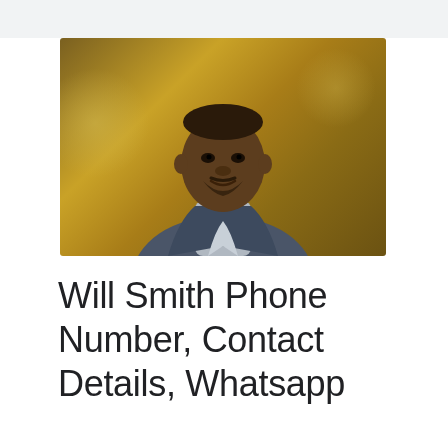[Figure (photo): Portrait photo of Will Smith wearing a grey turtleneck and plaid blazer against a golden bokeh background]
Will Smith Phone Number, Contact Details, Whatsapp